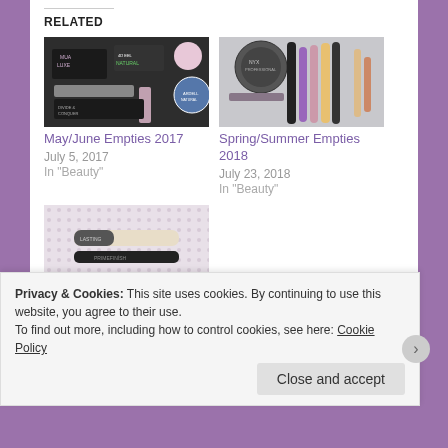RELATED
[Figure (photo): Flat lay of makeup products including MUA, NATURAL false lashes, and other beauty items on white background]
May/June Empties 2017
July 5, 2017
In "Beauty"
[Figure (photo): Flat lay of beauty products including NYX, mascara, lipstick, eyeliner on sparkly background]
Spring/Summer Empties 2018
July 23, 2018
In "Beauty"
[Figure (photo): Close-up of mascara products on dotted background]
Privacy & Cookies: This site uses cookies. By continuing to use this website, you agree to their use.
To find out more, including how to control cookies, see here: Cookie Policy
Close and accept